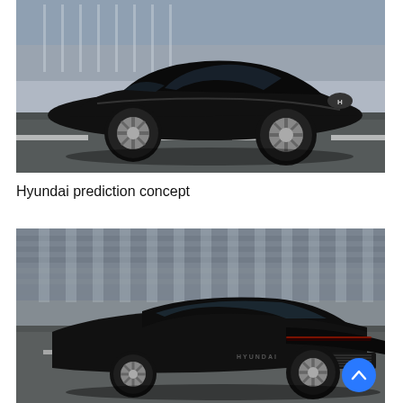[Figure (photo): A sleek black Hyundai concept car (Prophecy/Prediction) parked on a road, shot from front-left angle in an urban setting. The car has smooth bodywork, large multi-spoke wheels, and a Hyundai logo on the front.]
Hyundai prediction concept
[Figure (photo): A black Hyundai concept car photographed from a rear-right angle, driving on a road with a blurred building facade in the background. A blue scroll-to-top button is overlaid on the bottom right of the image.]